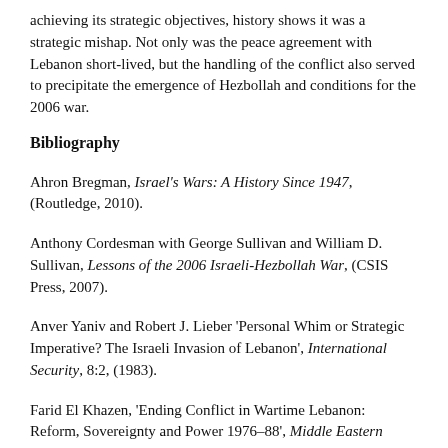achieving its strategic objectives, history shows it was a strategic mishap. Not only was the peace agreement with Lebanon short-lived, but the handling of the conflict also served to precipitate the emergence of Hezbollah and conditions for the 2006 war.
Bibliography
Ahron Bregman, Israel's Wars: A History Since 1947, (Routledge, 2010).
Anthony Cordesman with George Sullivan and William D. Sullivan, Lessons of the 2006 Israeli-Hezbollah War, (CSIS Press, 2007).
Anver Yaniv and Robert J. Lieber 'Personal Whim or Strategic Imperative? The Israeli Invasion of Lebanon', International Security, 8:2, (1983).
Farid El Khazen, 'Ending Conflict in Wartime Lebanon: Reform, Sovereignty and Power 1976–88', Middle Eastern Studies, 40:1,